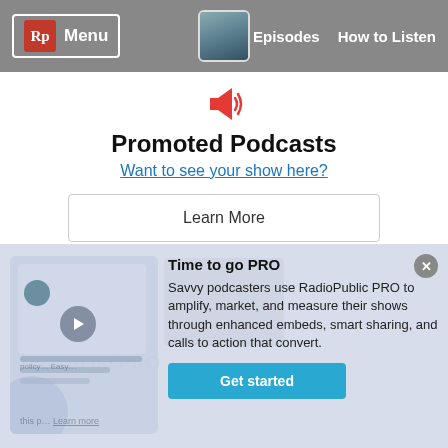Rp Menu | Episodes | How to Listen
Promoted Podcasts
Want to see your show here?
Learn More
Time to go PRO
Savvy podcasters use RadioPublic PRO to amplify, market, and measure their shows through enhanced embeds, smart sharing, and calls to action that convert.
Get started